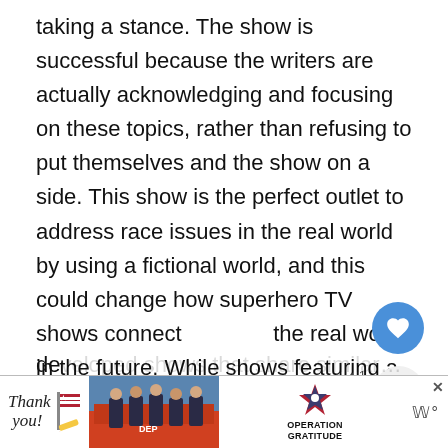taking a stance. The show is successful because the writers are actually acknowledging and focusing on these topics, rather than refusing to put themselves and the show on a side. This show is the perfect outlet to address race issues in the real world by using a fictional world, and this could change how superhero TV shows connect the real world in the future. While shows featuring a white lead can't tackle r… issues in the same way, there are other highly de…
[Figure (screenshot): Social media UI overlay showing a blue heart/like button, a share button with count '1', and a 'What's Next' card showing '12 Best Sniper Movies You...' with a thumbnail image of a person]
[Figure (photo): Advertisement banner at bottom of page: 'Thank you!' cursive text with American flag star graphic, photo of firefighters in front of fire truck, Operation Gratitude logo with star graphic. Close button X visible.]